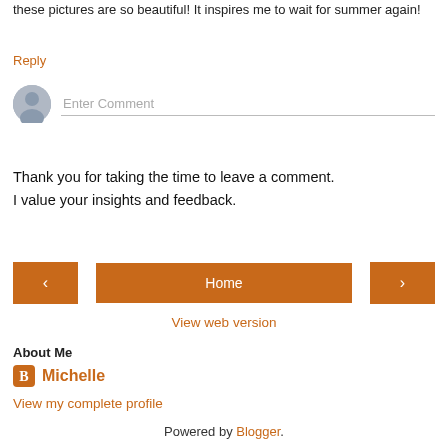these pictures are so beautiful! It inspires me to wait for summer again!
Reply
[Figure (other): Comment input area with user avatar placeholder and 'Enter Comment' text field]
Thank you for taking the time to leave a comment.
I value your insights and feedback.
[Figure (other): Navigation buttons: left arrow, Home, right arrow in orange]
View web version
About Me
Michelle
View my complete profile
Powered by Blogger.